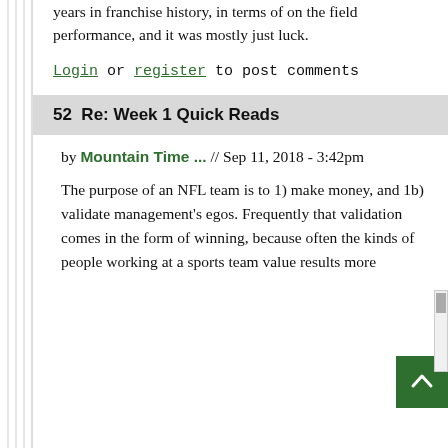years in franchise history, in terms of on the field performance, and it was mostly just luck.
Login or register to post comments
52  Re: Week 1 Quick Reads
by Mountain Time ... // Sep 11, 2018 - 3:42pm
The purpose of an NFL team is to 1) make money, and 1b) validate management's egos. Frequently that validation comes in the form of winning, because often the kinds of people working at a sports team value results more